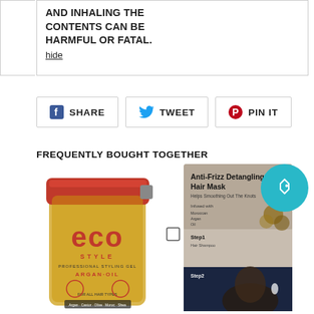AND INHALING THE CONTENTS CAN BE HARMFUL OR FATAL. hide
[Figure (other): Social share buttons row: SHARE (Facebook), TWEET (Twitter), PIN IT (Pinterest)]
FREQUENTLY BOUGHT TOGETHER
[Figure (photo): ECO Style Argan Oil Professional Styling Gel jar with red lid, for all hair types]
[Figure (photo): Anti-Frizz Detangling Hair Mask product package with a woman with curly hair, with a teal circular price/tag badge overlay]